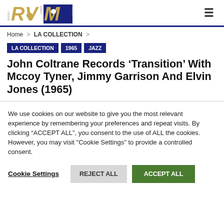RVM Radio Video Music logo + navigation
Home > LA COLLECTION >
LA COLLECTION  1965  JAZZ
John Coltrane Records ‘Transition’ With Mccoy Tyner, Jimmy Garrison And Elvin Jones (1965)
We use cookies on our website to give you the most relevant experience by remembering your preferences and repeat visits. By clicking “ACCEPT ALL”, you consent to the use of ALL the cookies. However, you may visit "Cookie Settings" to provide a controlled consent.
Cookie Settings  REJECT ALL  ACCEPT ALL